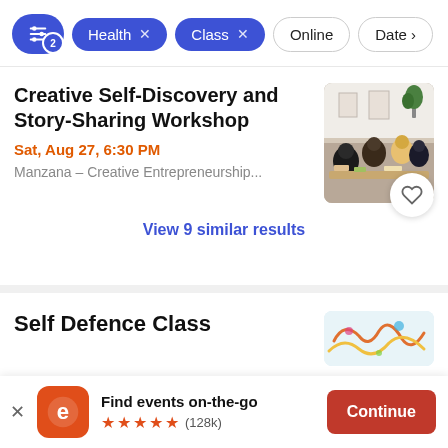[Figure (screenshot): Filter bar with active filter chips: a settings icon with badge '2', 'Health x', 'Class x', 'Online', 'Date' outline chips]
Creative Self-Discovery and Story-Sharing Workshop
Sat, Aug 27, 6:30 PM
Manzana – Creative Entrepreneurship...
[Figure (photo): Photo of people seated at tables in a gallery or workshop setting]
View 9 similar results
Self Defence Class
[Figure (photo): Colorful illustrated image thumbnail for Self Defence Class]
Find events on-the-go
★★★★★ (128k)
Continue